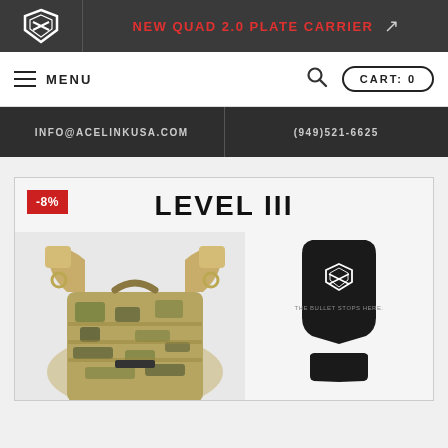[Figure (logo): Acelink USA shield logo on dark background]
NEW QUAD 2.0 PLATE CARRIER ↗
≡ MENU
🔍
CART: 0
INFO@ACELINKUSA.COM
(949)521-6625
-8%
LEVEL III
[Figure (photo): Multicam plate carrier vest shown from front, with tan shoulder pads, on light gray background]
[Figure (photo): Black Level III ballistic armor plate with Acelink USA logo and text THE BULLET STOPS HERE on dark background]